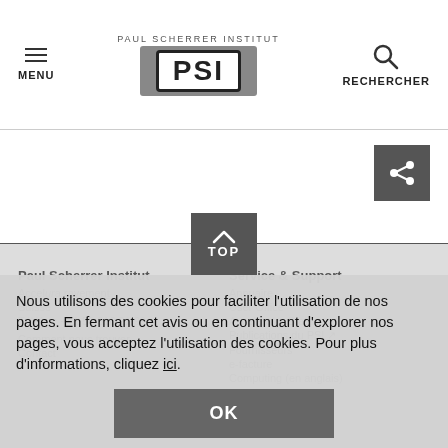MENU | PAUL SCHERRER INSTITUT PSI | RECHERCHER
[Figure (logo): Share button icon (dark grey square with share symbol)]
[Figure (other): TOP button - dark grey square with upward chevron and text TOP]
Paul Scherrer Institut
Service & Support
Adresse / raverement
Annuaire
Suisse
User Office
Accelerator Status
Publications du PSI
Téléfax: +41 56 310 21 99
Fournisseurs
Comment nous trouver
e-facture
Contact
Computing (en anglais)
Nous utilisons des cookies pour faciliter l'utilisation de nos pages. En fermant cet avis ou en continuant d'explorer nos pages, vous acceptez l'utilisation des cookies. Pour plus d'informations, cliquez ici.